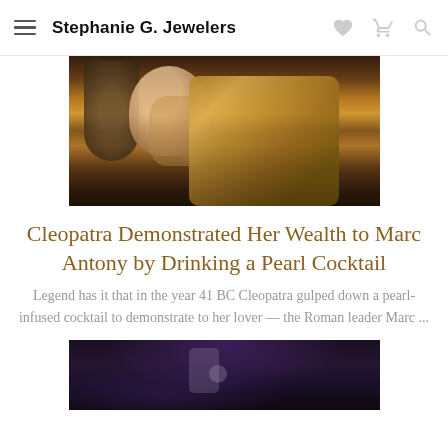Stephanie G. Jewelers
[Figure (photo): Classical painting of a woman in gold/brown dress holding a pearl, with a barrel or vessel in the background — depicting Cleopatra with a pearl.]
Cleopatra Demonstrated Her Wealth to Marc Antony by Drinking a Pearl Cocktail
Legend has it that in the year 41 BC Cleopatra gulped down a pearl-infused cocktail to demonstrate to her lover — the Roman leader Marc ...
[Figure (photo): Dark photo of a person at a microphone, appearing to be at a concert or performance event.]